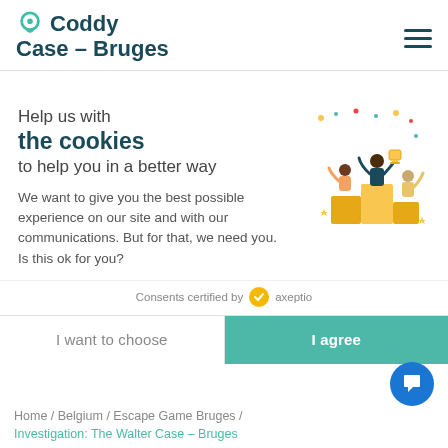Coddy Case - Bruges
Help us with the cookies to help you in a better way
We want to give you the best possible experience on our site and with our communications. But for that, we need you.
Is this ok for you?
[Figure (illustration): Three cartoon characters celebrating on a golden podium, holding trophies, with confetti and stars around them.]
Consents certified by axeptio
I want to choose
I agree
[Figure (photo): Two partially visible background photos behind the cookie consent modal.]
Home / Belgium / Escape Game Bruges / Investigation: The Walter Case - Bruges